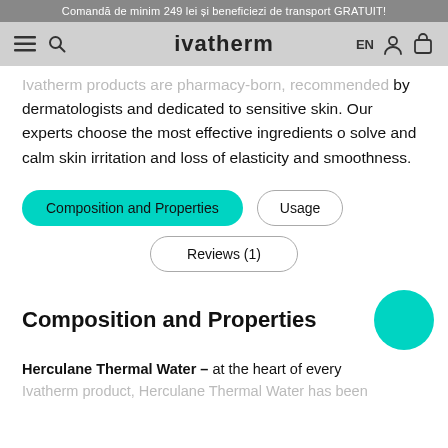Comandă de minim 249 lei și beneficiezi de transport GRATUIT!
ivatherm
Ivatherm products are pharmacy-born, recommended by dermatologists and dedicated to sensitive skin. Our experts choose the most effective ingredients o solve and calm skin irritation and loss of elasticity and smoothness.
Composition and Properties
Usage
Reviews (1)
Composition and Properties
Herculane Thermal Water – at the heart of every Ivatherm product, Herculane Thermal Water has been